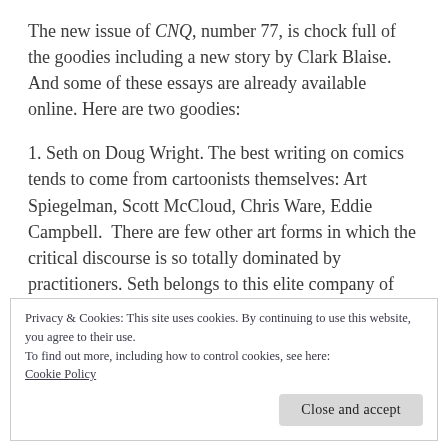The new issue of CNQ, number 77, is chock full of the goodies including a new story by Clark Blaise. And some of these essays are already available online. Here are two goodies:
1. Seth on Doug Wright. The best writing on comics tends to come from cartoonists themselves: Art Spiegelman, Scott McCloud, Chris Ware, Eddie Campbell.  There are few other art forms in which the critical discourse is so totally dominated by practitioners. Seth belongs to this elite company of
Privacy & Cookies: This site uses cookies. By continuing to use this website, you agree to their use.
To find out more, including how to control cookies, see here: Cookie Policy
delivered 5 years ago to launch the Doug Wright